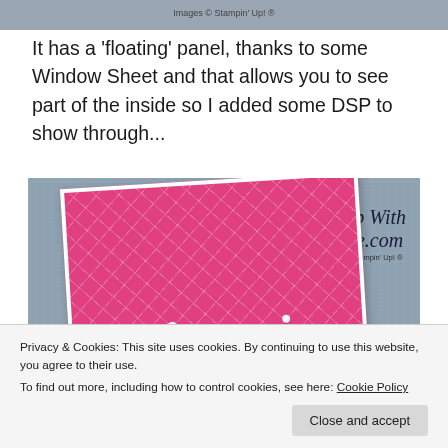[Figure (photo): Top strip of a crafting/card photo with 'Images © Stampin' Up! ®' watermark text on a gray background]
It has a 'floating' panel, thanks to some Window Sheet and that allows you to see part of the inside so I added some DSP to show through...
[Figure (photo): Photo of a handmade greeting card with a pink diamond-pattern DSP panel on a gray background, decorated with pearl embellishments. The 'Stamp With Nellie.com' logo and 'Images © Stampin' Up! ®' watermark appear in the upper right of the image.]
Privacy & Cookies: This site uses cookies. By continuing to use this website, you agree to their use.
To find out more, including how to control cookies, see here: Cookie Policy
Close and accept